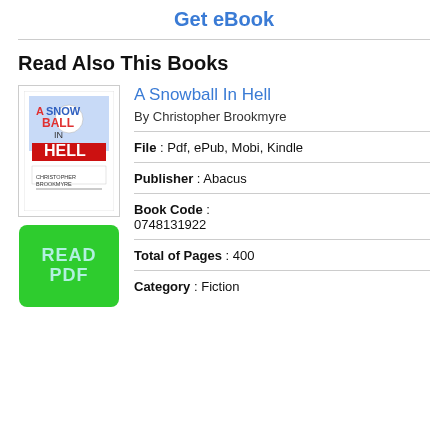Get eBook
Read Also This Books
[Figure (illustration): Book cover for A Snowball In Hell by Christopher Brookmyre]
[Figure (illustration): Green READ PDF button]
A Snowball In Hell
By Christopher Brookmyre
File : Pdf, ePub, Mobi, Kindle
Publisher : Abacus
Book Code : 0748131922
Total of Pages : 400
Category : Fiction